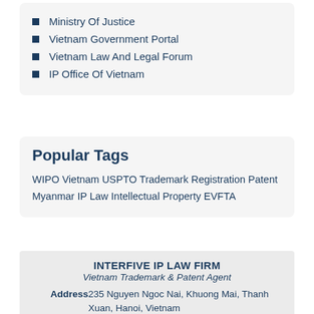Ministry Of Justice
Vietnam Government Portal
Vietnam Law And Legal Forum
IP Office Of Vietnam
Popular Tags
WIPO Vietnam USPTO Trademark Registration Patent Myanmar IP Law Intellectual Property EVFTA
INTERFIVE IP LAW FIRM
Vietnam Trademark & Patent Agent
Address 235 Nguyen Ngoc Nai, Khuong Mai, Thanh Xuan, Hanoi, Vietnam
Email interfive@interfive.com.vn
Website https://interfive.com.vn
Phone +84 24 7303 6655